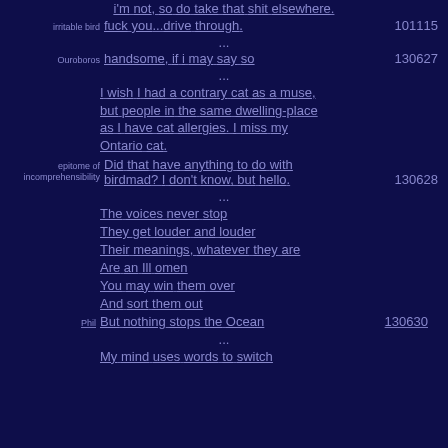i'm not, so do take that shit elsewhere.
irritable bird fuck you...drive through. 101115
...
Ouroboros handsome, if i may say so 130627
...
I wish I had a contrary cat as a muse, but people in the same dwelling-place as I have cat allergies. I miss my Ontario cat.
epitome of incomprehensibility Did that have anything to do with birdmad? I don't know, but hello. 130628
...
The voices never stop
They get louder and louder
Their meanings, whatever they are
Are an Ill omen
You may win them over
And sort them out
Phil But nothing stops the Ocean 130630
...
My mind uses words to switch